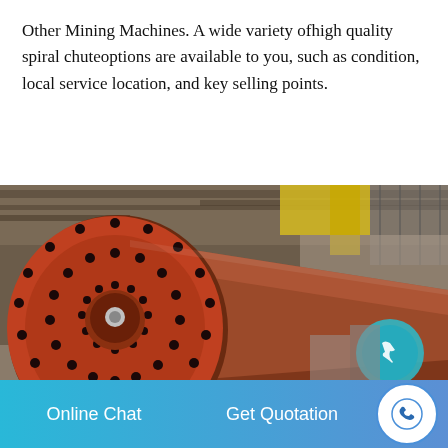Other Mining Machines. A wide variety ofhigh quality spiral chuteoptions are available to you, such as condition, local service location, and key selling points.
[Figure (photo): A large industrial rotary drum or ball mill machine in a factory/warehouse setting. The machine is reddish-orange with a large circular perforated front end face, mounted on blue support rollers, extending horizontally into the background of the industrial building. A teal circular icon is visible on the right side of the image.]
Online Chat   Get Quotation